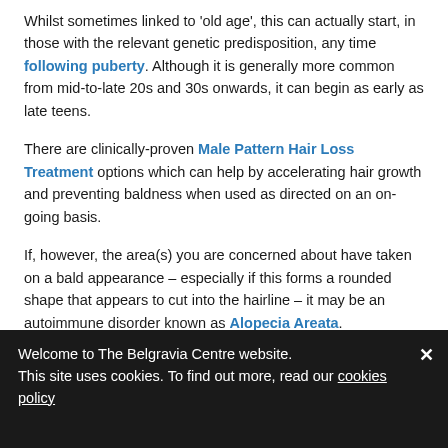Whilst sometimes linked to 'old age', this can actually start, in those with the relevant genetic predisposition, any time following puberty. Although it is generally more common from mid-to-late 20s and 30s onwards, it can begin as early as late teens.
There are clinically-proven Male Pattern Hair Loss Treatment options which can help by accelerating hair growth and preventing baldness when used as directed on an on-going basis.
If, however, the area(s) you are concerned about have taken on a bald appearance – especially if this forms a rounded shape that appears to cut into the hairline – it may be an autoimmune disorder known as Alopecia Areata.
This causes sudden, patchy hair loss – often bald spots – which can appear anywhere on the scalp and is the result of the hair
Welcome to The Belgravia Centre website. This site uses cookies. To find out more, read our cookies policy